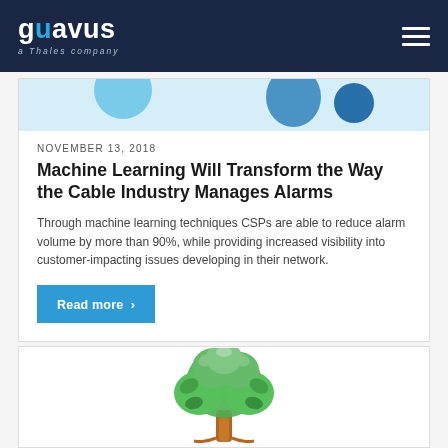guavus — a Thales company
[Figure (illustration): Partial view of decorative blue shapes (circles) on light blue background at top of article card]
NOVEMBER 13, 2018
Machine Learning Will Transform the Way the Cable Industry Manages Alarms
Through machine learning techniques CSPs are able to reduce alarm volume by more than 90%, while providing increased visibility into customer-impacting issues developing in their network.
Read more ›
[Figure (illustration): Green tree illustration with round leaf canopy and brown trunk, partially visible at bottom of page]